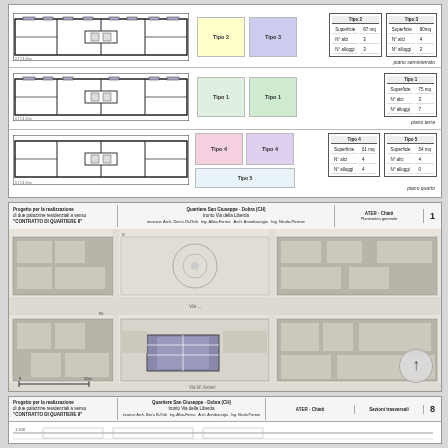[Figure (engineering-diagram): Floor plan drawings for three levels (piano seminterrato, piano terra, piano quarto) with apartment type color swatches (Tipo 2, Tipo 3, Tipo 1, Tipo 4, Tipo 5, Tipo 6) and corresponding data tables showing superficie, n° alci, n° alloggi values for each type.]
[Figure (engineering-diagram): Site plan / urban context map showing building footprints, streets, and proposed residential buildings in a city block layout. Title: Progetto per la realizzazione di due palazzine residenziali a senso 'CONTRATTO DI QUARTIERE II'. Location: Quartiere San Giuseppe - Dobra (CH) - tronto Via della Liberda. Client: ATER - Chieti. Drawing number: 1.]
[Figure (engineering-diagram): Partial view of another drawing sheet with title block: Progetto per la realizzazione di due palazzine residenziali a senso 'CONTRATTO DI QUARTIERE II'. Location: Quartiere San Giuseppe - Dobra (CH). Drawing: Sezioni trasversali. Scale: 1:100. Drawing number: 8.]